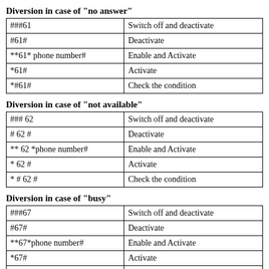Diversion in case of "no answer"
| ###61 | Switch off and deactivate |
| #61# | Deactivate |
| **61* phone number# | Enable and Activate |
| *61# | Activate |
| *#61# | Check the condition |
Diversion in case of "not available"
| ### 62 | Switch off and deactivate |
| # 62 # | Deactivate |
| ** 62 *phone number# | Enable and Activate |
| * 62 # | Activate |
| * # 62 # | Check the condition |
Diversion in case of "busy"
| ###67 | Switch off and deactivate |
| #67# | Deactivate |
| **67*phone number# | Enable and Activate |
| *67# | Activate |
| *#67# | Check the condition |